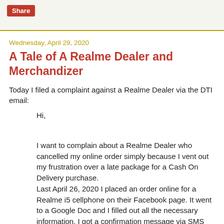Share
Wednesday, April 29, 2020
A Tale of A Realme Dealer and Merchandizer
Today I filed a complaint against a Realme Dealer via the DTI email:
Hi,
I want to complain about a Realme Dealer who cancelled my online order simply because I vent out my frustration over a late package for a Cash On Delivery purchase.
Last April 26, 2020 I placed an order online for a Realme i5 cellphone on their Facebook page. It went to a Google Doc and I filled out all the necessary information. I got a confirmation message via SMS that my order will be delivered the same day. However, it didn't.